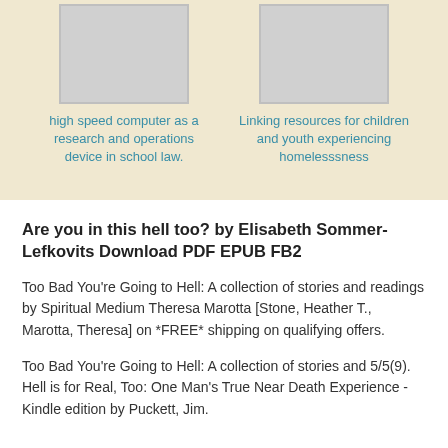[Figure (illustration): Book cover placeholder image (grey rectangle)]
high speed computer as a research and operations device in school law.
[Figure (illustration): Book cover placeholder image (grey rectangle)]
Linking resources for children and youth experiencing homelesssness
Are you in this hell too? by Elisabeth Sommer-Lefkovits Download PDF EPUB FB2
Too Bad You're Going to Hell: A collection of stories and readings by Spiritual Medium Theresa Marotta [Stone, Heather T., Marotta, Theresa] on *FREE* shipping on qualifying offers.
Too Bad You're Going to Hell: A collection of stories and 5/5(9). Hell is for Real, Too: One Man's True Near Death Experience - Kindle edition by Puckett, Jim.